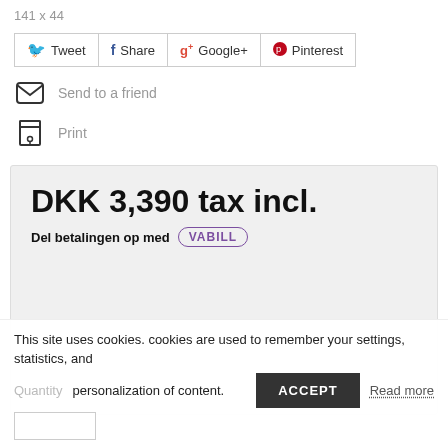141 x 44
Tweet  Share  Google+  Pinterest
Send to a friend
Print
DKK 3,390 tax incl.
Del betalingen op med VABILL
This site uses cookies. cookies are used to remember your settings, statistics, and personalization of content.
Quantity
ACCEPT
Read more